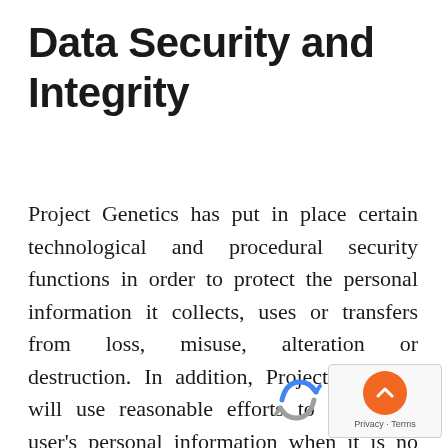Data Security and Integrity
Project Genetics has put in place certain technological and procedural security functions in order to protect the personal information it collects, uses or transfers from loss, misuse, alteration or destruction. In addition, Project Genetics will use reasonable efforts to remove a user's personal information when it is no longer required for the purposes set forth above. However, Project Genetics cannot guarantee that such the loss, misuse, alteration, destruction or retention will never occur, and makes no